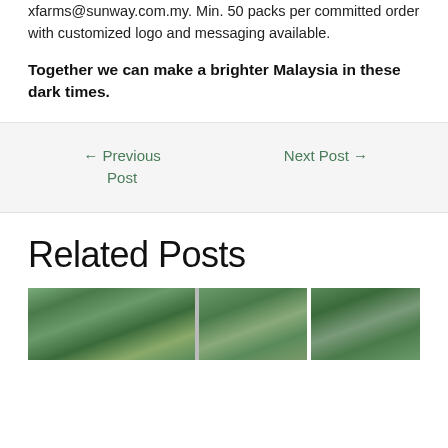xfarms@sunway.com.my. Min. 50 packs per committed order with customized logo and messaging available.
Together we can make a brighter Malaysia in these dark times.
← Previous Post
Next Post →
Related Posts
[Figure (photo): Two photographs of outdoor scenes with tropical vegetation and trees, shown side by side]